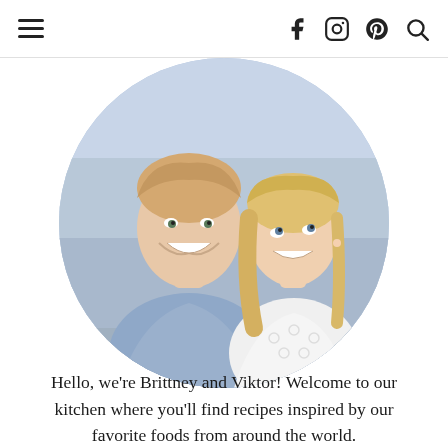☰  f  ⓘ  ⓟ  🔍
[Figure (photo): Circular cropped photo of a smiling couple — a tall young man with short blonde hair wearing a light blue button-up shirt on the left, and a young blonde woman in a white lace sleeveless top on the right, with a blurred outdoor urban background.]
Hello, we're Brittney and Viktor! Welcome to our kitchen where you'll find recipes inspired by our favorite foods from around the world.